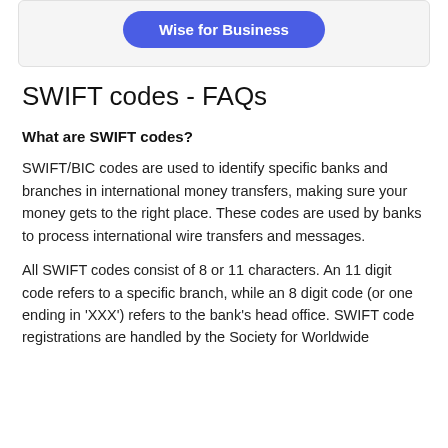[Figure (other): A rounded rectangle card with light gray background containing a blue pill-shaped button labeled 'Wise for Business']
SWIFT codes - FAQs
What are SWIFT codes?
SWIFT/BIC codes are used to identify specific banks and branches in international money transfers, making sure your money gets to the right place. These codes are used by banks to process international wire transfers and messages.
All SWIFT codes consist of 8 or 11 characters. An 11 digit code refers to a specific branch, while an 8 digit code (or one ending in 'XXX') refers to the bank's head office. SWIFT code registrations are handled by the Society for Worldwide